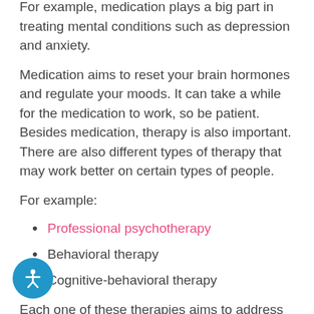For example, medication plays a big part in treating mental conditions such as depression and anxiety.
Medication aims to reset your brain hormones and regulate your moods. It can take a while for the medication to work, so be patient. Besides medication, therapy is also important. There are also different types of therapy that may work better on certain types of people.
For example:
Professional psychotherapy
Behavioral therapy
Cognitive-behavioral therapy
Each one of these therapies aims to address and your mental illness in a different way. By finding a good therapist, you will be better able to treat your